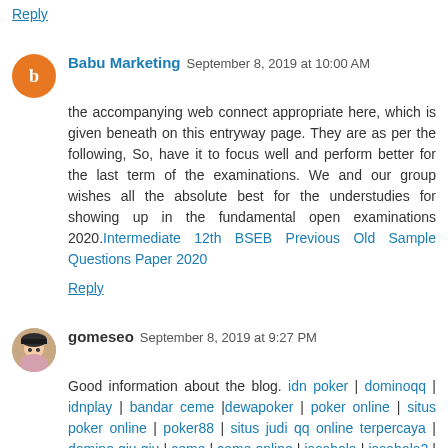Reply
Babu Marketing  September 8, 2019 at 10:00 AM
the accompanying web connect appropriate here, which is given beneath on this entryway page. They are as per the following, So, have it to focus well and perform better for the last term of the examinations. We and our group wishes all the absolute best for the understudies for showing up in the fundamental open examinations 2020.Intermediate 12th BSEB Previous Old Sample Questions Paper 2020
Reply
gomeseo  September 8, 2019 at 9:27 PM
Good information about the blog. idn poker | dominoqq | idnplay | bandar ceme |dewapoker | poker online | situs poker online | poker88 | situs judi qq online terpercaya | domino qiu qiu | ceme | ceme online | jasabola | jasabola2 | bolajasa | jasabola3 | jasabola net | jasa88 | jayabola | jasa